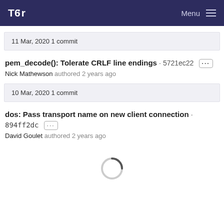Tor — Menu
11 Mar, 2020 1 commit
pem_decode(): Tolerate CRLF line endings · 5721ec22 ···
Nick Mathewson authored 2 years ago
10 Mar, 2020 1 commit
dos: Pass transport name on new client connection · 894ff2dc ···
David Goulet authored 2 years ago
[Figure (other): Loading spinner circle indicator]